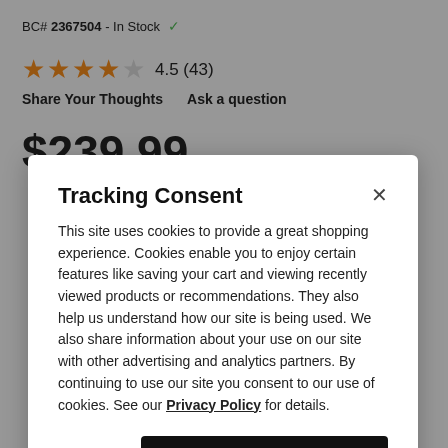BC# 2367504 - In Stock ✓
4.5 (43)
Share Your Thoughts   Ask a question
$239.99
Tracking Consent
This site uses cookies to provide a great shopping experience. Cookies enable you to enjoy certain features like saving your cart and viewing recently viewed products or recommendations. They also help us understand how our site is being used. We also share information about your use on our site with other advertising and analytics partners. By continuing to use our site you consent to our use of cookies. See our Privacy Policy for details.
Continue